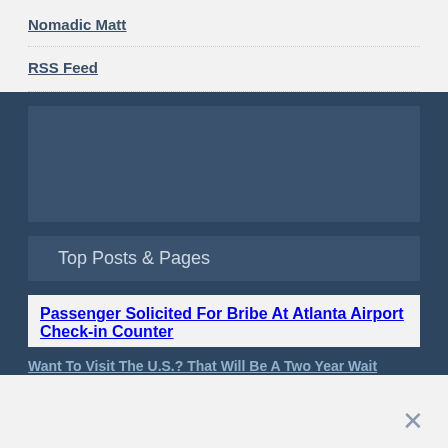Nomadic Matt
RSS Feed
[Figure (other): Advertisement or placeholder box with dark navy background]
Top Posts & Pages
Passenger Solicited For Bribe At Atlanta Airport Check-in Counter
Want To Visit The U.S.? That Will Be A Two Year Wait